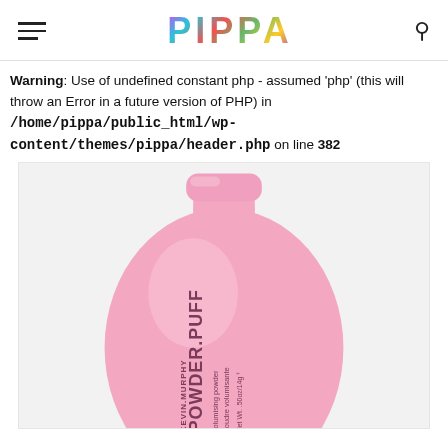PIPPA
Warning: Use of undefined constant php - assumed 'php' (this will throw an Error in a future version of PHP) in /home/pippa/public_html/wp-content/themes/pippa/header.php on line 382
[Figure (photo): Pink bottle of KEVIN.MURPHY POWDER.PUFF volumising powder, net wt .50oz/14g, on a light grey background.]